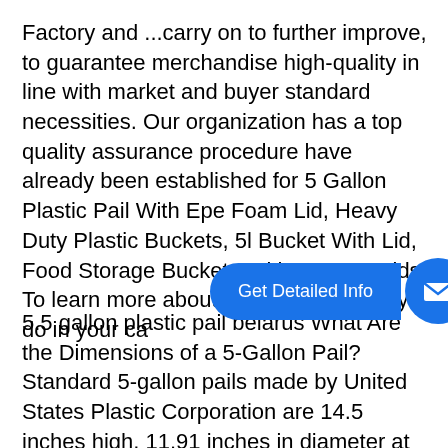Factory and ...carry on to further improve, to guarantee merchandise high-quality in line with market and buyer standard necessities. Our organization has a top quality assurance procedure have already been established for 5 Gallon Plastic Pail With Epe Foam Lid, Heavy Duty Plastic Buckets, 5l Bucket With Lid, Food Storage Buckets With Gamma Lids, To learn more about what we can easily do in your ca
[Figure (infographic): A blue pill-shaped call-to-action button labeled 'Get Detailed Info' with a blue circle containing a white envelope/mail icon to its right.]
5.5 gallon plastic pail belarus What Are the Dimensions of a 5-Gallon Pail? Standard 5-gallon pails made by United States Plastic Corporation are 14.5 inches high, 11.91 inches in diameter at the top and 10.33 inches in diameter at Standard 5-gallon pails . Contact Us; Where to Get a Free 55-Gallon Plastic Drum or Metal Drum - First Quarter Finance .